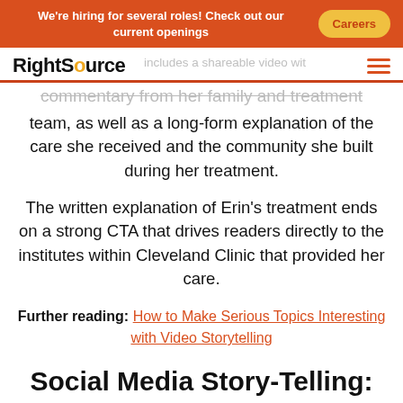We're hiring for several roles! Check out our current openings  Careers
RightSource
...includes a shareable video with commentary from her family and treatment team, as well as a long-form explanation of the care she received and the community she built during her treatment.
The written explanation of Erin's treatment ends on a strong CTA that drives readers directly to the institutes within Cleveland Clinic that provided her care.
Further reading: How to Make Serious Topics Interesting with Video Storytelling
Social Media Story-Telling: Mid-